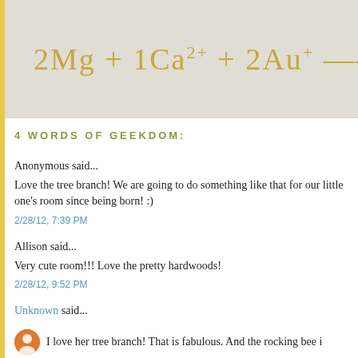[Figure (other): Chemistry equation image banner: 2Mg + 1Ca2+ + 2Au+ ---> 2M (cut off), shown in gold text on a light gray background]
4 WORDS OF GEEKDOM:
Anonymous said...
Love the tree branch! We are going to do something like that for our little one's room since being born! :)
2/28/12, 7:39 PM
Allison said...
Very cute room!!! Love the pretty hardwoods!
2/28/12, 9:52 PM
Unknown said...
I love her tree branch! That is fabulous. And the rocking bee i (cut off)